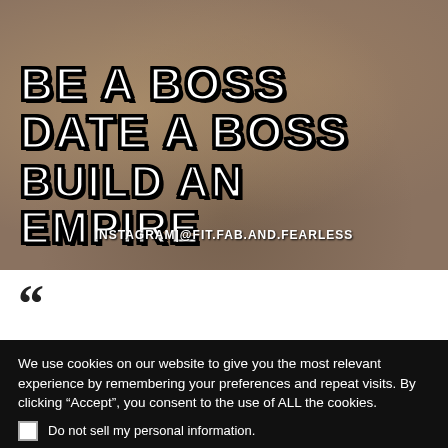[Figure (photo): Photo of a muscular shirtless man and a woman in a black bikini at a beach, with bold text overlay reading 'BE A BOSS DATE A BOSS BUILD AN EMPIRE' and Instagram handle INSTAGRAM|@FIT.FAB.AND.FEARLESS]
”
We use cookies on our website to give you the most relevant experience by remembering your preferences and repeat visits. By clicking “Accept”, you consent to the use of ALL the cookies.
Do not sell my personal information.
Manage consent